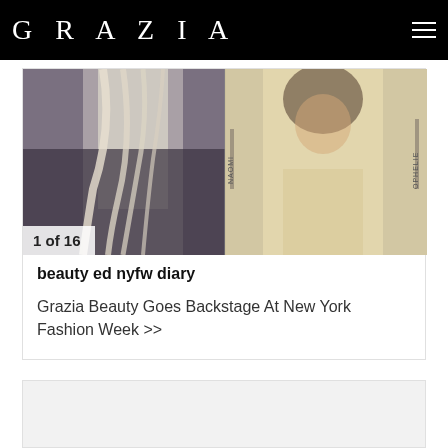GRAZIA
[Figure (photo): Two fashion/beauty photos side by side: left shows a person with platinum blonde hair in a dark outfit, right shows a woman with dark hair wearing a beige/cream top, with name tags reading NAOMI and OPHELIE visible]
1 of 16
beauty ed nyfw diary
Grazia Beauty Goes Backstage At New York Fashion Week >>
[Figure (photo): Second card placeholder area, partially visible]